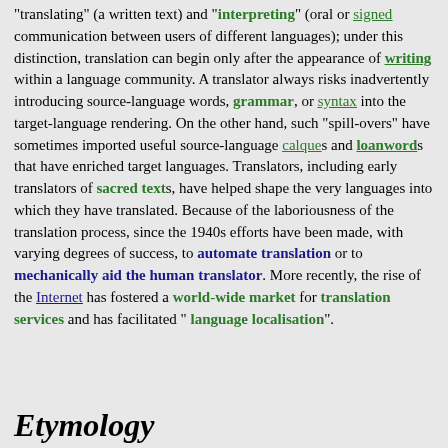"translating" (a written text) and "interpreting" (oral or signed communication between users of different languages); under this distinction, translation can begin only after the appearance of writing within a language community. A translator always risks inadvertently introducing source-language words, grammar, or syntax into the target-language rendering. On the other hand, such "spill-overs" have sometimes imported useful source-language calques and loanwords that have enriched target languages. Translators, including early translators of sacred texts, have helped shape the very languages into which they have translated. Because of the laboriousness of the translation process, since the 1940s efforts have been made, with varying degrees of success, to automate translation or to mechanically aid the human translator. More recently, the rise of the Internet has fostered a world-wide market for translation services and has facilitated "language localisation".
Etymology